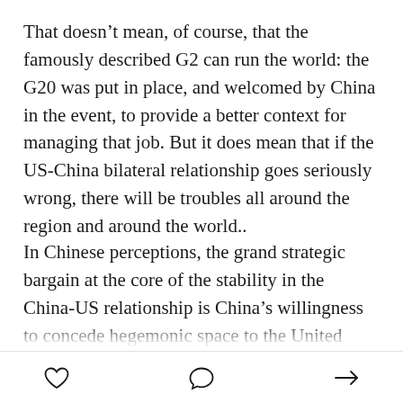That doesn't mean, of course, that the famously described G2 can run the world: the G20 was put in place, and welcomed by China in the event, to provide a better context for managing that job. But it does mean that if the US-China bilateral relationship goes seriously wrong, there will be troubles all around the region and around the world..
In Chinese perceptions, the grand strategic bargain at the core of the stability in the China-US relationship is China's willingness to concede hegemonic space to the United States. Simply put, China allows the Americans the lead in running the world in return for US willingness not to interfere in China's getting on with
[heart icon] [comment icon] [share icon]